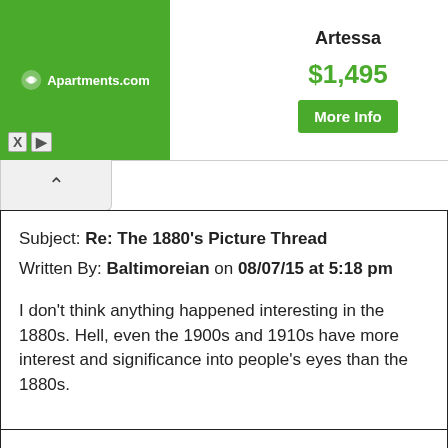[Figure (screenshot): Apartments.com advertisement banner showing 'Artessa' apartment in Peoria, AZ for $1,495 with a bedroom photo and More Info button]
Subject: Re: The 1880's Picture Thread
Written By: Baltimoreian on 08/07/15 at 5:18 pm
I don't think anything happened interesting in the 1880s. Hell, even the 1900s and 1910s have more interest and significance into people's eyes than the 1880s.
Subject: Re: The 1880's Picture Thread
Written By: Philip Eno on 08/07/15 at 5:22 pm